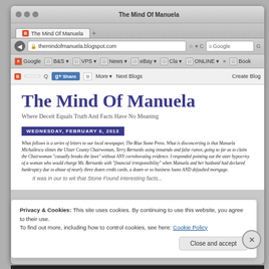[Figure (screenshot): Browser screenshot of 'The Mind Of Manuela' blog on blogspot.com showing the blog title, subtitle, a date badge reading WEDNESDAY, FEBRUARY 6, 2013, a blog post excerpt in italic text, and a cookie consent banner overlay at the bottom.]
The Mind Of Manuela
Where Deceit Equals Truth And Facts Have No Meaning
WEDNESDAY, FEBRUARY 6, 2013
What follows is a series of letters to our local newspaper, The Blue Stone Press. What is disconcerting is that Manuela Michailescu slimes the Ulster County Chairwoman, Terry Bernardo using innuendo and false rumor, going so far as to claim the Chairwoman "casually breaks the laws" without ANY corroborating evidence. I responded pointing out the utter hypocrisy of a woman who would charge Ms. Bernardo with "financial irresponsibility" when Manuela and her husband had declared bankruptcy due to abuse of nearly three dozen credit cards, a dozen or so business loans AND defaulted mortgage.
Privacy & Cookies: This site uses cookies. By continuing to use this website, you agree to their use.
To find out more, including how to control cookies, see here: Cookie Policy
Close and accept